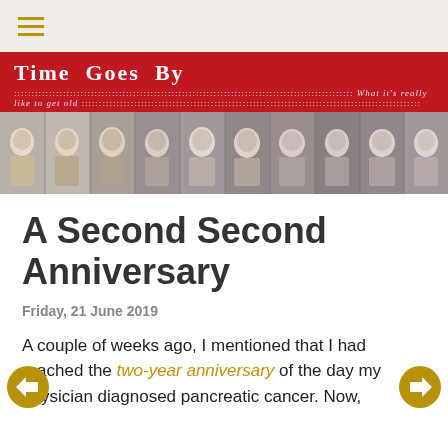≡ (hamburger menu)
[Figure (illustration): Time Goes By blog banner: red background with white bold title 'Time Goes By', subtitle 'What it's really like to get old', with dotted border pattern. Below is a black-and-white photo strip showing 10 portraits of the same woman at different ages from childhood to old age.]
A Second Second Anniversary
Friday, 21 June 2019
A couple of weeks ago, I mentioned that I had reached the two-year anniversary of the day my physician diagnosed pancreatic cancer. Now,